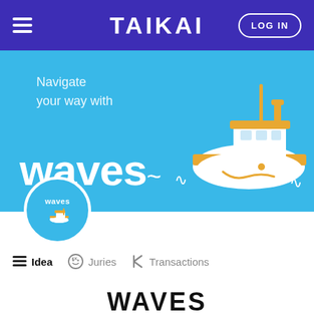TAIKAI | LOG IN
[Figure (illustration): Hero banner with light blue background. Text reads 'Navigate your way with' and large white 'waves' wordmark with tilde wave symbols. Orange and white cartoon tugboat on the right side.]
[Figure (logo): Circular profile avatar with light blue background showing 'waves' text and small tugboat icon. White border ring around circle.]
Idea
Juries
Transactions
WAVES
Using GNSS data for ship detection to improve